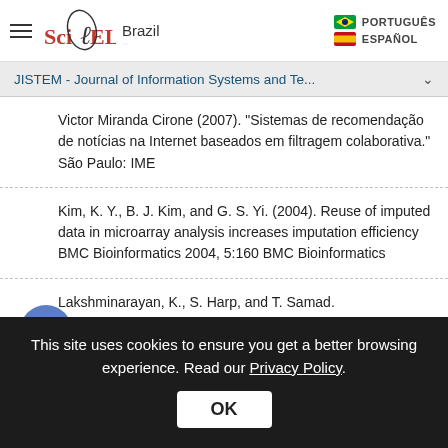SciELO Brazil — PORTUGUÊS / ESPAÑOL
JISTEM - Journal of Information Systems and Te... ∨
Victor Miranda Cirone (2007). "Sistemas de recomendação de notícias na Internet baseados em filtragem colaborativa." São Paulo: IME
Kim, K. Y., B. J. Kim, and G. S. Yi. (2004). Reuse of imputed data in microarray analysis increases imputation efficiency BMC Bioinformatics 2004, 5:160 BMC Bioinformatics
Lakshminarayan, K., S. Harp, and T. Samad.
This site uses cookies to ensure you get a better browsing experience. Read our Privacy Policy.